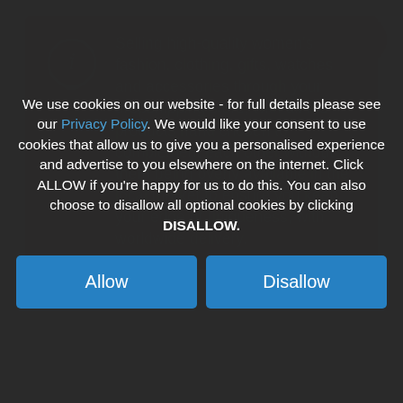[Figure (infographic): Orange info box with 'i' icon in speech bubble and text about selling high-quality women's fashion through dropshipping store]
Selling high-quality women's fashion, clothing, gifts, watches and accessories through your dropshipping store, with all the products hand chosen to complement each other without them being overly available in the local market to ensure you keep your edge of uniqueness, with worldwide delivery.
We use cookies on our website - for full details please see our Privacy Policy. We would like your consent to use cookies that allow us to give you a personalised experience and advertise to you elsewhere on the internet. Click ALLOW if you're happy for us to do this. You can also choose to disallow all optional cookies by clicking DISALLOW.